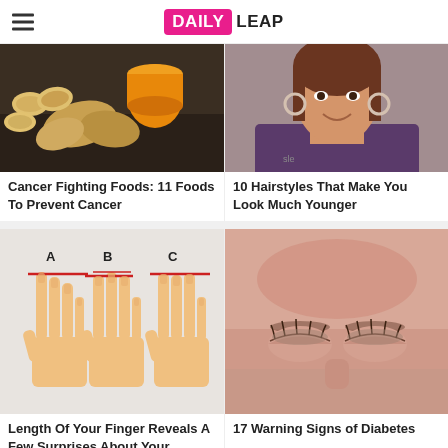DAILY LEAP
[Figure (photo): Photo of ginger root, sliced ginger, and an orange juice glass on a dark surface]
Cancer Fighting Foods: 11 Foods To Prevent Cancer
[Figure (photo): Photo of a smiling older woman with hoop earrings]
10 Hairstyles That Make You Look Much Younger
[Figure (illustration): Illustration of three hands labeled A, B, C showing different finger lengths with red measurement lines]
Length Of Your Finger Reveals A Few Surprises About Your Personality
[Figure (photo): Close-up photo of a person's forehead and closed eyes showing reddish skin]
17 Warning Signs of Diabetes